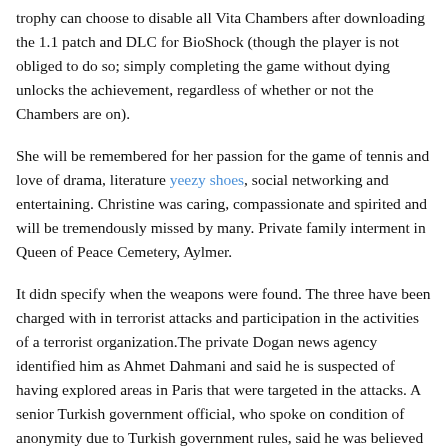trophy can choose to disable all Vita Chambers after downloading the 1.1 patch and DLC for BioShock (though the player is not obliged to do so; simply completing the game without dying unlocks the achievement, regardless of whether or not the Chambers are on).
She will be remembered for her passion for the game of tennis and love of drama, literature yeezy shoes, social networking and entertaining. Christine was caring, compassionate and spirited and will be tremendously missed by many. Private family interment in Queen of Peace Cemetery, Aylmer.
It didn specify when the weapons were found. The three have been charged with in terrorist attacks and participation in the activities of a terrorist organization.The private Dogan news agency identified him as Ahmet Dahmani and said he is suspected of having explored areas in Paris that were targeted in the attacks. A senior Turkish government official, who spoke on condition of anonymity due to Turkish government rules, said he was believed to have